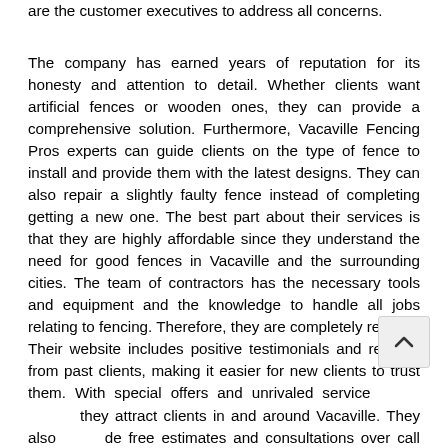are the customer executives to address all concerns.
The company has earned years of reputation for its honesty and attention to detail. Whether clients want artificial fences or wooden ones, they can provide a comprehensive solution. Furthermore, Vacaville Fencing Pros experts can guide clients on the type of fence to install and provide them with the latest designs. They can also repair a slightly faulty fence instead of completing getting a new one. The best part about their services is that they are highly affordable since they understand the need for good fences in Vacaville and the surrounding cities. The team of contractors has the necessary tools and equipment and the knowledge to handle all jobs relating to fencing. Therefore, they are completely reliable. Their website includes positive testimonials and reviews from past clients, making it easier for new clients to trust them. With special offers and unrivaled services, they attract clients in and around Vacaville. They also provide free estimates and consultations over call for those interested in hiring them.